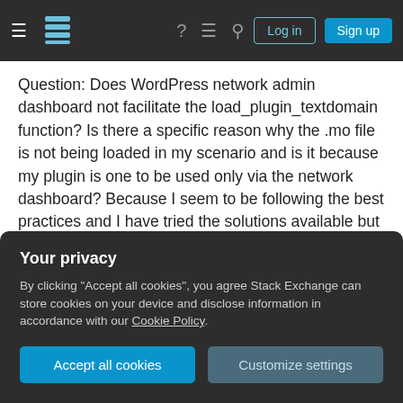Stack Exchange navigation bar with hamburger menu, logo, help, chat, search, Log in, Sign up buttons
Question: Does WordPress network admin dashboard not facilitate the load_plugin_textdomain function? Is there a specific reason why the .mo file is not being loaded in my scenario and is it because my plugin is one to be used only via the network dashboard? Because I seem to be following the best practices and I have tried the solutions available but the .mo file just wouldn't load, this function is constantly returning false.

Please respond if this is a known blackhole and if
Your privacy
By clicking "Accept all cookies", you agree Stack Exchange can store cookies on your device and disclose information in accordance with our Cookie Policy.
Accept all cookies | Customize settings